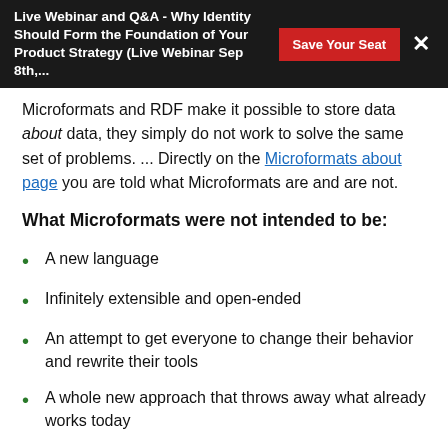Live Webinar and Q&A - Why Identity Should Form the Foundation of Your Product Strategy (Live Webinar Sep 8th,...
Microformats and RDF make it possible to store data about data, they simply do not work to solve the same set of problems. ... Directly on the Microformats about page you are told what Microformats are and are not.
What Microformats were not intended to be:
A new language
Infinitely extensible and open-ended
An attempt to get everyone to change their behavior and rewrite their tools
A whole new approach that throws away what already works today